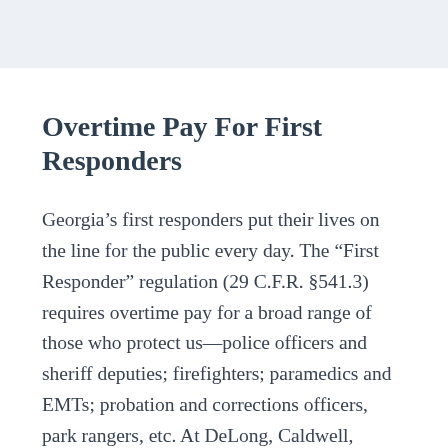Overtime Pay For First Responders
Georgia’s first responders put their lives on the line for the public every day. The “First Responder” regulation (29 C.F.R. §541.3) requires overtime pay for a broad range of those who protect us—police officers and sheriff deputies; firefighters; paramedics and EMTs; probation and corrections officers, park rangers, etc. At DeLong, Caldwell, Bridgers, Fitzpatrick, & Benjamin